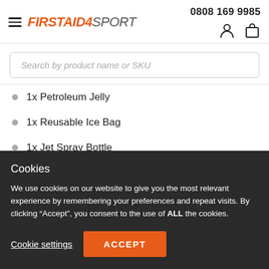FIRSTAID4SPORT — 0808 169 9985
Search by product name or SKU
1x Petroleum Jelly
1x Reusable Ice Bag
1x Jet Spray Bottle
1x Sports Muscle Rub (truncated)
Cookies
We use cookies on our website to give you the most relevant experience by remembering your preferences and repeat visits. By clicking “Accept”, you consent to the use of ALL the cookies.
Cookie settings | ACCEPT